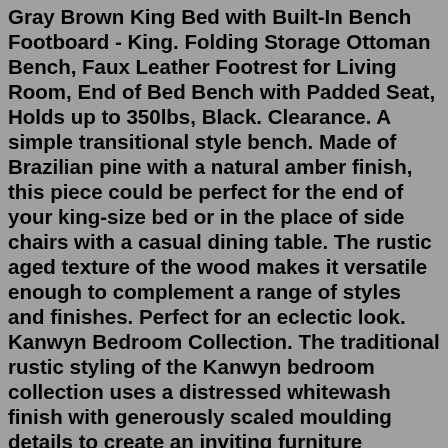Gray Brown King Bed with Built-In Bench Footboard - King. Folding Storage Ottoman Bench, Faux Leather Footrest for Living Room, End of Bed Bench with Padded Seat, Holds up to 350lbs, Black. Clearance. A simple transitional style bench. Made of Brazilian pine with a natural amber finish, this piece could be perfect for the end of your king-size bed or in the place of side chairs with a casual dining table. The rustic aged texture of the wood makes it versatile enough to complement a range of styles and finishes. Perfect for an eclectic look. Kanwyn Bedroom Collection. The traditional rustic styling of the Kanwyn bedroom collection uses a distressed whitewash finish with generously scaled moulding details to create an inviting furniture collection. The mansion style headboard features a picture framed panel design along with plenty of storage space in the bench footboard.According to experts in the industry, the minimum room size to accommodate a Standard King sized bed is 12 feet by 9.10 feet. This will leave at least 30 inches of space around the bed for free